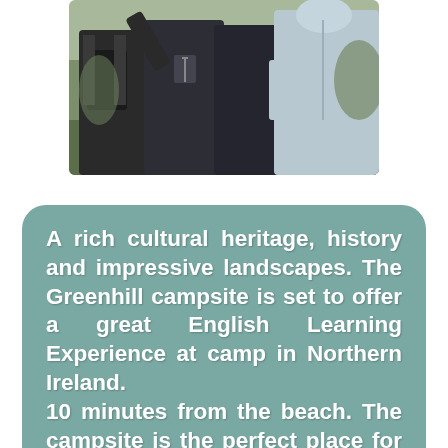[Figure (photo): Group of young people/students seen from behind, wearing jackets and backpacks, standing outdoors possibly at a campsite or hiking location.]
A rich cultural heritage, history and impressive landscapes. The Greenhill campsite is set to offer a great English Learning Experience at camp in Northern Ireland.
10 minutes from the beach. The campsite is the perfect place for learning a new language. The campground facilities are prime. Camp environment 100% in English.